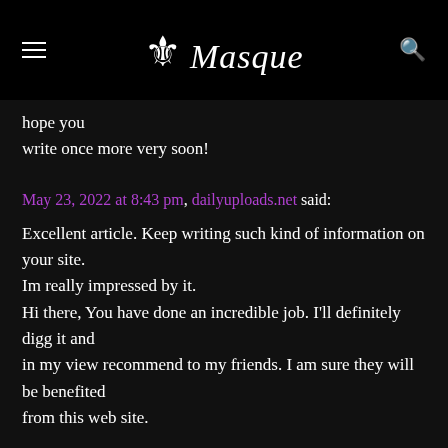Masquerade
hope you
write once more very soon!
May 23, 2022 at 8:43 pm, dailyuploads.net said:
Excellent article. Keep writing such kind of information on your site.
Im really impressed by it.
Hi there, You have done an incredible job. I'll definitely digg it and
in my view recommend to my friends. I am sure they will be benefited
from this web site.
May 23, 2022 at 8:44 pm,